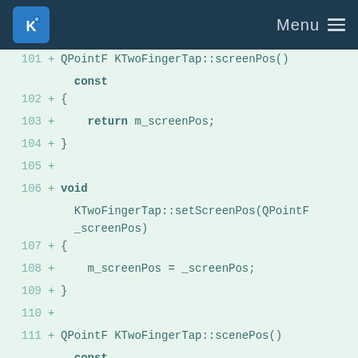KDE Menu
101 + QPointF KTwoFingerTap::screenPos()
    const
102 + {
103 +     return m_screenPos;
104 + }
105 +
106 + void
    KTwoFingerTap::setScreenPos(QPointF _screenPos)
107 + {
108 +     m_screenPos = _screenPos;
109 + }
110 +
111 + QPointF KTwoFingerTap::scenePos()
    const
112 + {
113 +     return m_scenePos;
114 + }
115 +
116 + void